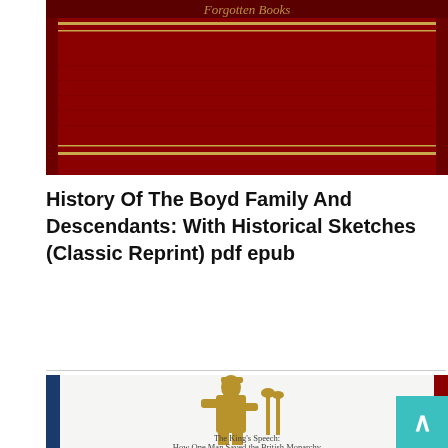[Figure (photo): Top portion of a red book cover with gold decorative text reading 'Forgotten Books' and gold horizontal stripe decorations on a dark red background.]
History Of The Boyd Family And Descendants: With Historical Sketches (Classic Reprint) pdf epub
[Figure (photo): Book cover of 'The King's Speech: How One Man Saved the British Monarchy' showing a golden silhouette of a uniformed man speaking at microphones, with Japanese text '英国王のスピーチ' at the bottom. The cover has blue side borders and a white/light background.]